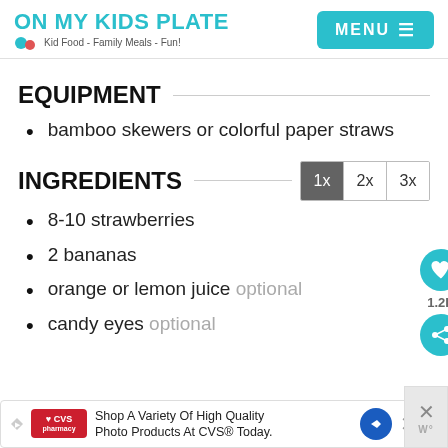ON MY KIDS PLATE — Kid Food - Family Meals - Fun! | MENU
EQUIPMENT
bamboo skewers or colorful paper straws
INGREDIENTS
8-10 strawberries
2 bananas
orange or lemon juice optional
candy eyes optional
[Figure (other): Ad banner: CVS Pharmacy - Shop A Variety Of High Quality Photo Products At CVS Today.]